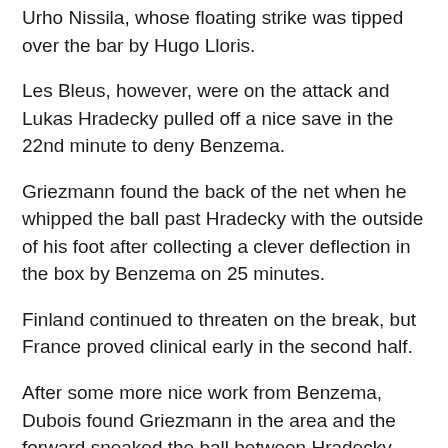Urho Nissila, whose floating strike was tipped over the bar by Hugo Lloris.
Les Bleus, however, were on the attack and Lukas Hradecky pulled off a nice save in the 22nd minute to deny Benzema.
Griezmann found the back of the net when he whipped the ball past Hradecky with the outside of his foot after collecting a clever deflection in the box by Benzema on 25 minutes.
Finland continued to threaten on the break, but France proved clinical early in the second half.
After some more nice work from Benzema, Dubois found Griezmann in the area and the forward sneaked the ball between Hradecky and the left-hand post to give the hosts some breathing space in the 53rd.